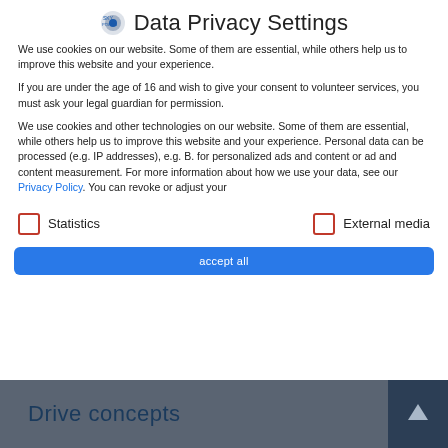Data Privacy Settings
We use cookies on our website. Some of them are essential, while others help us to improve this website and your experience.
If you are under the age of 16 and wish to give your consent to volunteer services, you must ask your legal guardian for permission.
We use cookies and other technologies on our website. Some of them are essential, while others help us to improve this website and your experience. Personal data can be processed (e.g. IP addresses), e.g. B. for personalized ads and content or ad and content measurement. For more information about how we use your data, see our Privacy Policy. You can revoke or adjust your
Statistics
External media
accept all
Drive concepts